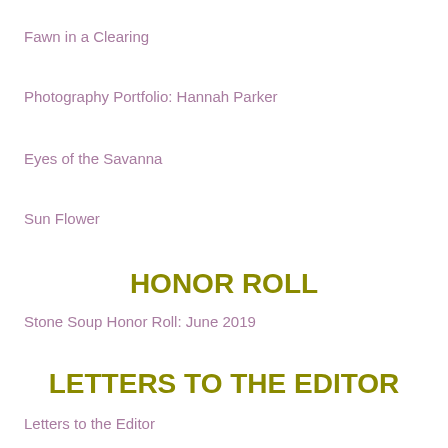Fawn in a Clearing
Photography Portfolio: Hannah Parker
Eyes of the Savanna
Sun Flower
HONOR ROLL
Stone Soup Honor Roll: June 2019
LETTERS TO THE EDITOR
Letters to the Editor